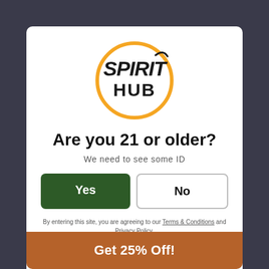[Figure (logo): Spirit Hub logo: orange circle with stylized 'SPIRIT HUB' text inside]
Are you 21 or older?
We need to see some ID
Yes
No
By entering this site, you are agreeing to our Terms & Conditions and Privacy Policy. Spirit Hub encourages responsible and moderate alcohol consumption. Read more about our responsibilities here.
Get 25% Off!